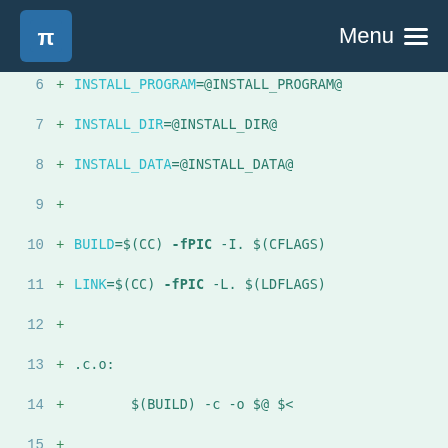KDE Menu
[Figure (screenshot): KDE website header with blue gear logo and Menu hamburger icon on dark navy background]
6  + INSTALL_PROGRAM=@INSTALL_PROGRAM@
7  + INSTALL_DIR=@INSTALL_DIR@
8  + INSTALL_DATA=@INSTALL_DATA@
9  +
10 + BUILD=$(CC) -fPIC -I. $(CFLAGS)
11 + LINK=$(CC) -fPIC -L. $(LDFLAGS)
12 +
13 + .c.o:
14 +         $(BUILD) -c -o $@ $<
15 +
16 +
17 + BINDIR=@exedir@
18 + MANDIR=@mandir@
19 + LIBDIR=@libdir@
20 + INCDIR=@prefix@/include
21 + @MK_PKGCONFIG@PKGDIR=$(LIBDIR)/pkgconfig
22 +
23 + PGMS=markdown
24 + SAMPLE_PGMS=mkd2html makepage